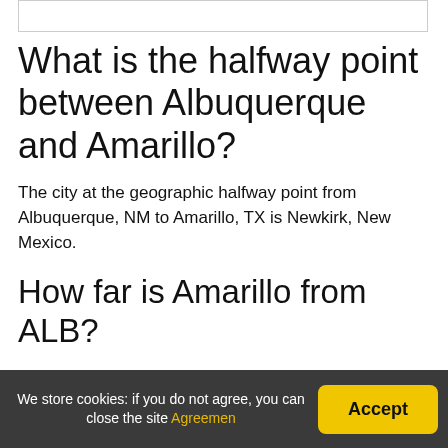[Figure (other): Partial image placeholder at top of page, white rectangle with gray border]
What is the halfway point between Albuquerque and Amarillo?
The city at the geographic halfway point from Albuquerque, NM to Amarillo, TX is Newkirk, New Mexico.
How far is Amarillo from ALB?
The direct drive from Amarillo to Albuquerque is 289 miles (465 km), and should have a drive time of 4 hrs 1 min in
We store cookies: if you do not agree, you can close the site Agreemen